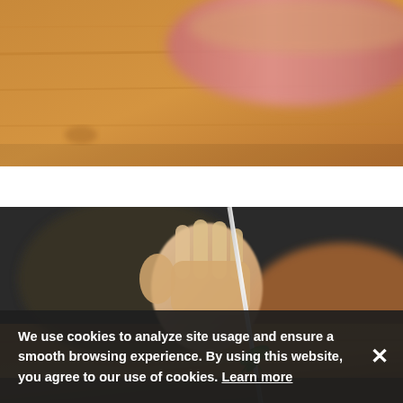[Figure (photo): Close-up photo of a wooden cutting board with cured meat (ham/prosciutto) in the background, blurred, warm tones.]
[Figure (photo): Close-up photo of a person's hand holding a metal skewer or thermometer probe, pointing downward toward a wooden surface with a small green herb/sprout. Person is wearing dark clothing. Background is blurred with warm brown tones.]
We use cookies to analyze site usage and ensure a smooth browsing experience. By using this website, you agree to our use of cookies. Learn more